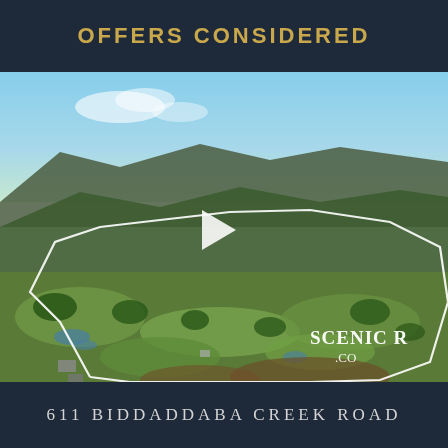OFFERS CONSIDERED
[Figure (photo): Aerial drone photo of a large rural property with green pastures, dams, scattered trees, and forested hills in the background. Property boundary is marked with a white polygon overlay. A play button is visible in the center indicating a video. Watermark text 'SCENIC R... .C...' visible bottom right.]
611 BIDDADDABA CREEK ROAD